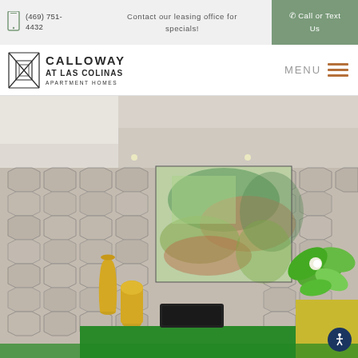(469) 751-4432  Contact our leasing office for specials!  Call or Text Us
[Figure (logo): Calloway at Las Colinas Apartment Homes logo with geometric diamond/cross icon]
MENU
[Figure (photo): Interior apartment lobby photo showing geometric patterned wallpaper, yellow decorative vases, colorful abstract artwork, green plant, and green accent furniture]